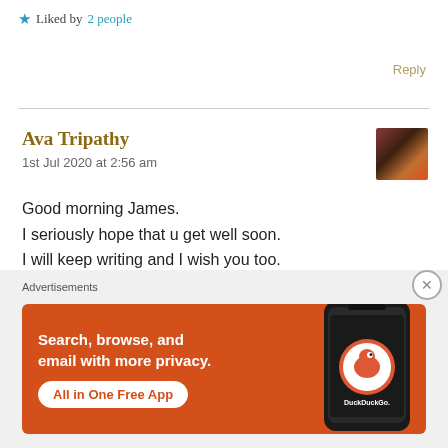★ Liked by 2 people
Reply
Ava Tripathy
1st Jul 2020 at 2:56 am
Good morning James.
I seriously hope that u get well soon.
I will keep writing and I wish you too.
Lots of love and wishes 😊😇🤗
[Figure (screenshot): DuckDuckGo advertisement banner: orange background with text 'Search, browse, and email with more privacy. All in One Free App' and DuckDuckGo logo with phone image]